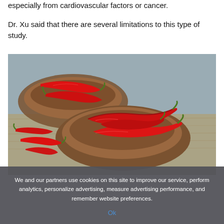especially from cardiovascular factors or cancer.
Dr. Xu said that there are several limitations to this type of study.
[Figure (photo): Red chili peppers in and around a wooden bowl, placed on a burlap surface with a wooden background.]
We and our partners use cookies on this site to improve our service, perform analytics, personalize advertising, measure advertising performance, and remember website preferences.
Ok